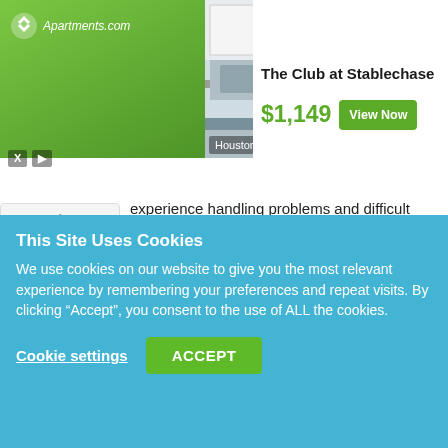[Figure (screenshot): Apartments.com advertisement banner showing The Club at Stablechase apartment in Houston, TX. Features a kitchen photo, green brand logo area, price of $1,149, and a 'View Now' button.]
experience handling problems and difficult situations, and ability to perform quantity food production and prepare display cooking.
10. Individual seeking a Cook position at Pruitthealth where profound knowledge of food handling, preparation and storage techniques that comply with state and federal
This Site Uses Cookies
We use cookies on our website to give you the most relevant experience by remembering your preferences and repeat visits. By clicking “Accept”, you consent to the use of ALL the cookies.
Cookie settings   ACCEPT